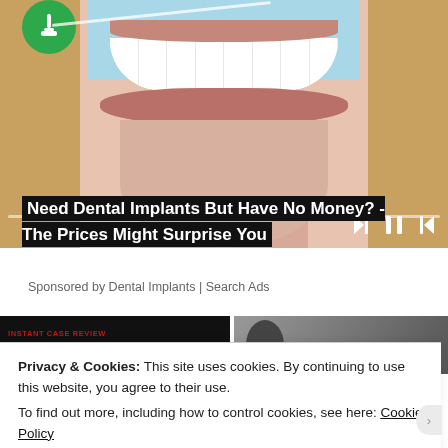[Figure (photo): Close-up of a smiling woman showing white teeth, with blonde hair and light blue background, plus media player controls overlay]
Need Dental Implants But Have No Money? - The Prices Might Surprise You
Sponsored by Dental Implants | Search Ads
[Figure (photo): Two thumbnail images: left shows 'INSTANT CASE REVIEW' text on black background in red, right shows a person on dark background]
Privacy & Cookies: This site uses cookies. By continuing to use this website, you agree to their use.
To find out more, including how to control cookies, see here: Cookie Policy
Close and accept